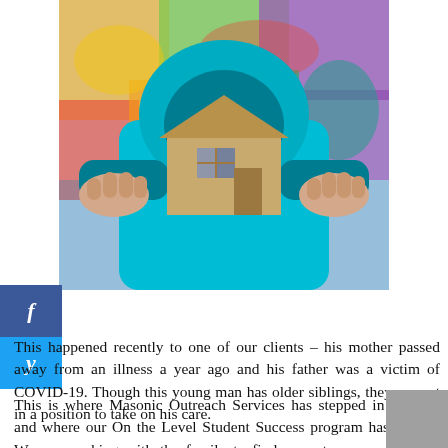[Figure (photo): A child in a teal hoodie holding up a cardboard cutout of a house in front of their face, with a colorful graffiti wall in the background.]
This happened recently to one of our clients – his mother passed away from an illness a year ago and his father was a victim of COVID-19. Though this young man has older siblings, they are not in a position to take on his care.
This is where Masonic Outreach Services has stepped in to help, and where our On the Level Student Success program has helped. We are working with the family to find ways to assure that this young man has the support and resources he needs to make it through, while still attending